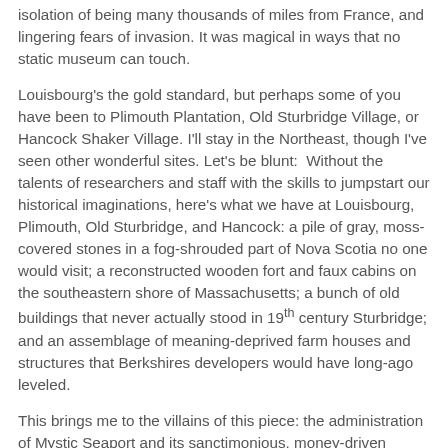isolation of being many thousands of miles from France, and lingering fears of invasion. It was magical in ways that no static museum can touch.
Louisbourg's the gold standard, but perhaps some of you have been to Plimouth Plantation, Old Sturbridge Village, or Hancock Shaker Village. I'll stay in the Northeast, though I've seen other wonderful sites. Let's be blunt:  Without the talents of researchers and staff with the skills to jumpstart our historical imaginations, here's what we have at Louisbourg, Plimouth, Old Sturbridge, and Hancock: a pile of gray, moss-covered stones in a fog-shrouded part of Nova Scotia no one would visit; a reconstructed wooden fort and faux cabins on the southeastern shore of Massachusetts; a bunch of old buildings that never actually stood in 19th century Sturbridge; and an assemblage of meaning-deprived farm houses and structures that Berkshires developers would have long-ago leveled.
This brings me to the villains of this piece: the administration of Mystic Seaport and its sanctimonious, money-driven president Pete Armstrong. Mystic recently fired its living